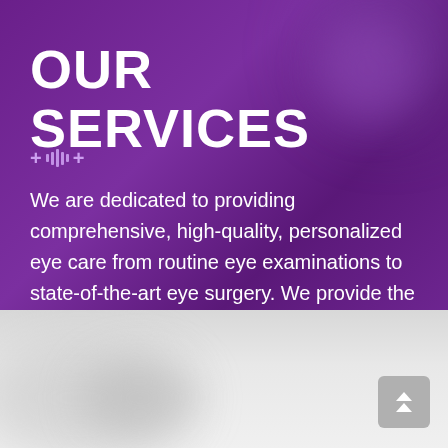OUR SERVICES
[Figure (illustration): Decorative medical plus signs and bar graphic in light purple on purple background]
We are dedicated to providing comprehensive, high-quality, personalized eye care from routine eye examinations to state-of-the-art eye surgery. We provide the highest level of surgical services for our patients.
[Figure (photo): Light grey/white blurred background section with subtle circular shadow shapes and a scroll-to-top button (double chevron up arrow) in the bottom right corner]